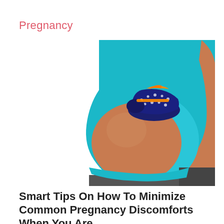Pregnancy
[Figure (photo): Side profile of a pregnant woman in a teal/turquoise top, showing her bare baby bump with a small navy blue baby shoe with orange accents resting on top of it. The background is white.]
Smart Tips On How To Minimize Common Pregnancy Discomforts When You Are